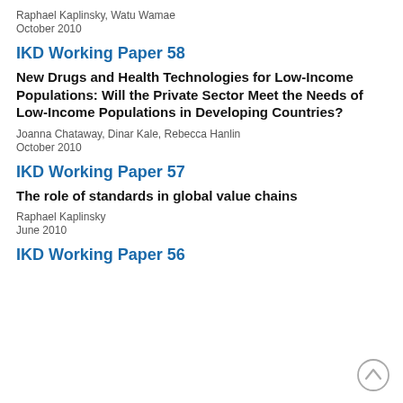Raphael Kaplinsky, Watu Wamae
October 2010
IKD Working Paper 58
New Drugs and Health Technologies for Low-Income Populations: Will the Private Sector Meet the Needs of Low-Income Populations in Developing Countries?
Joanna Chataway, Dinar Kale, Rebecca Hanlin
October 2010
IKD Working Paper 57
The role of standards in global value chains
Raphael Kaplinsky
June 2010
IKD Working Paper 56
[Figure (other): Back to top arrow button - circular arrow icon]